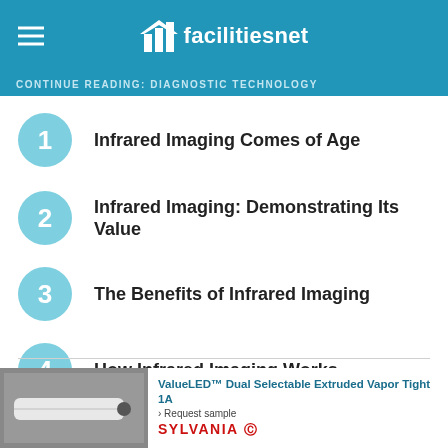facilitiesnet
CONTINUE READING: DIAGNOSTIC TECHNOLOGY
1 Infrared Imaging Comes of Age
2 Infrared Imaging: Demonstrating Its Value
3 The Benefits of Infrared Imaging
4 How Infrared Imaging Works
5 Expanding Applications For Infrared Imaging
[Figure (photo): Advertisement: ValueLED Dual Selectable Extruded Vapor Tight 1A by Sylvania, with a request sample link and product photo of a white LED fixture.]